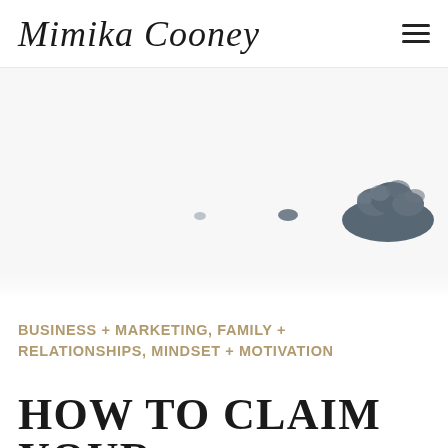Mimika Cooney
[Figure (photo): High-key minimalist photograph showing partially visible dark rocky or natural forms (possibly rocks or seals) against a near-white background, creating a sparse, airy composition.]
BUSINESS + MARKETING, FAMILY + RELATIONSHIPS, MINDSET + MOTIVATION
HOW TO CLAIM YOUR